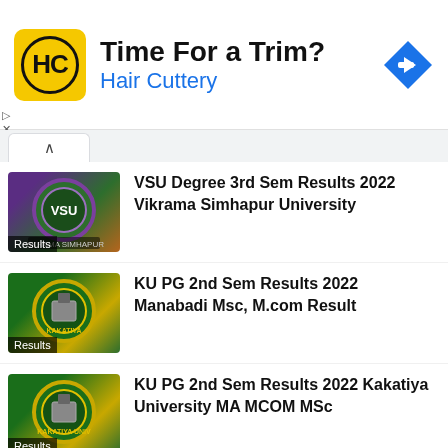[Figure (screenshot): Hair Cuttery advertisement banner with yellow logo, 'Time For a Trim?' headline, 'Hair Cuttery' subtitle in blue, and blue diamond navigation arrow icon]
VSU Degree 3rd Sem Results 2022 Vikrama Simhapur University
KU PG 2nd Sem Results 2022 Manabadi Msc, M.com Result
KU PG 2nd Sem Results 2022 Kakatiya University MA MCOM MSc
MGU Degree 1st Year 2nd Sem Results 2022 Mahatma Gandhi University